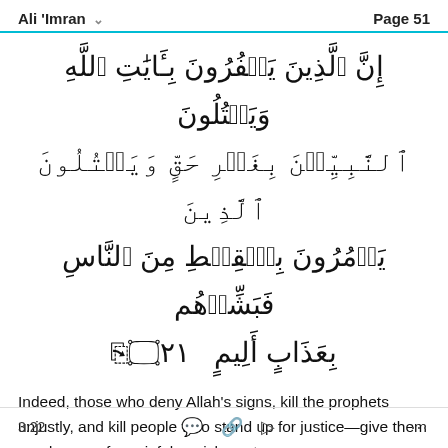Ali 'Imran  Page 51
إِنَّ ٱلَّذِينَ يَكۡفُرُونَ بِـَٔايَٰتِ ٱللَّهِ وَيَقۡتُلُونَ ٱلنَّبِيِّنَ بِغَيۡرِ حَقٍّ وَيَقۡتُلُونَ ٱلَّذِينَ يَأۡمُرُونَ بِٱلۡقِسۡطِ مِنَ ٱلنَّاسِ فَبَشِّرۡهُم بِعَذَابٍ أَلِيمٍ ٢١
Indeed, those who deny Allah's signs, kill the prophets unjustly, and kill people who stand up for justice—give them good news of a painful punishment.
3:22